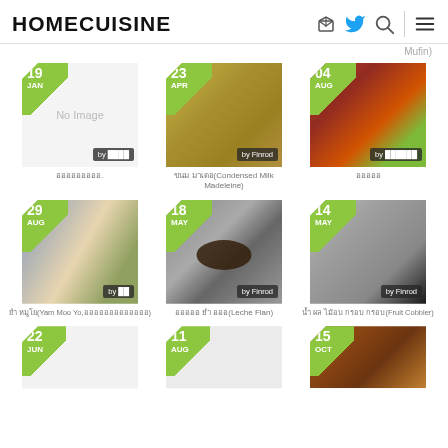HOMECUISINE
Mufin)
[Figure (photo): Food card: No Image, date 19 JAN, by user]
อออออออออ.
[Figure (photo): Food card: condensed milk madeleine cookies, date 23 APR, by Finrod]
ขนม มาเดอ(Condensed Milk Madeleine)
[Figure (photo): Food card: colorful dish, date 04 AUG, by user]
อออออ
[Figure (photo): Food card: Yam Moo Yo salad dish, date 29 AUG, by user]
ยำ หมูโย(Yam Moo Yo,อออออออออออออ)
[Figure (photo): Food card: Leche Flan, date 18 MAY, by Finrod]
อออออ ยำ อออ(Leche Flan)
[Figure (photo): Food card: Fruit Cobbler, date 14 MAY, by Finrod]
น้ำ ผล ไม้อบ กรอบ กรอบ(Fruit Cobbler)
[Figure (photo): Partial food card: date 22 JUN]
[Figure (photo): Partial food card: date 11 AUG]
[Figure (photo): Partial food card with food image: date 15 OCT]